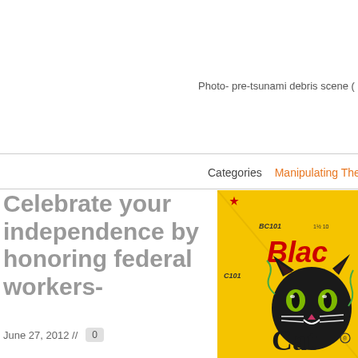Photo- pre-tsunami debris scene (
Categories    Manipulating The Troops, TRICARE, W
Celebrate your independence by honoring federal workers-
June 27, 2012 //  0
[Figure (photo): Black Cat brand fireworks package with yellow background and black cat logo]